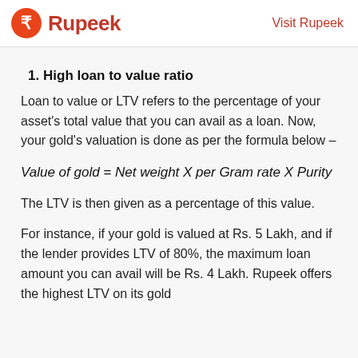Rupeek | Visit Rupeek
1. High loan to value ratio
Loan to value or LTV refers to the percentage of your asset's total value that you can avail as a loan. Now, your gold's valuation is done as per the formula below –
The LTV is then given as a percentage of this value.
For instance, if your gold is valued at Rs. 5 Lakh, and if the lender provides LTV of 80%, the maximum loan amount you can avail will be Rs. 4 Lakh. Rupeek offers the highest LTV on its gold